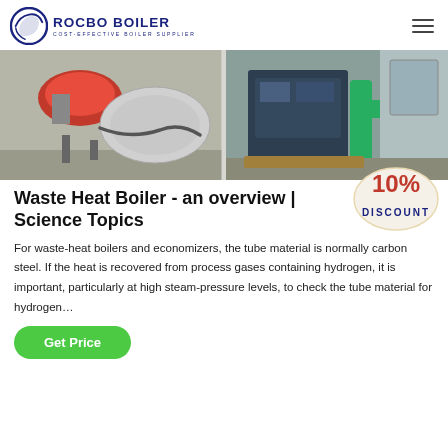ROCBO BOILER — COST-EFFECTIVE BOILER SUPPLIER
[Figure (photo): Two side-by-side industrial boiler photos: left shows a red burner assembly attached to a cylindrical vessel; right shows a blue industrial steam boiler unit with green pipes.]
Waste Heat Boiler - an overview | Science Topics
For waste-heat boilers and economizers, the tube material is normally carbon steel. If the heat is recovered from process gases containing hydrogen, it is important, particularly at high steam-pressure levels, to check the tube material for hydrogen…
Get Price